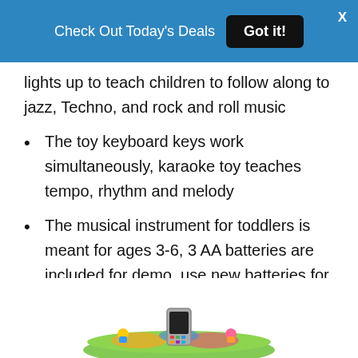Check Out Today's Deals   Got it!   X
lights up to teach children to follow along to jazz, Techno, and rock and roll music
The toy keyboard keys work simultaneously, karaoke toy teaches tempo, rhythm and melody
The musical instrument for toddlers is meant for ages 3-6, 3 AA batteries are included for demo, use new batteries for regular use
3. Fisher-Price Around the Town
[Figure (photo): Partial view of a colorful Fisher-Price toy play mat with a phone-like toy accessory visible from the bottom of the page]